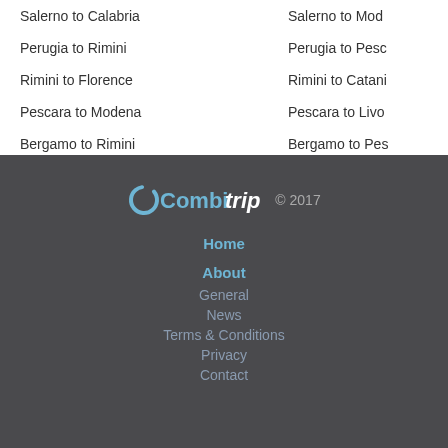Salerno to Calabria
Salerno to Mod...
Perugia to Rimini
Perugia to Pesc...
Rimini to Florence
Rimini to Catani...
Pescara to Modena
Pescara to Livo...
Bergamo to Rimini
Bergamo to Pes...
[Figure (logo): Combitrip logo with circular C icon, text Combitrip © 2017]
Home
About
General
News
Terms & Conditions
Privacy
Contact